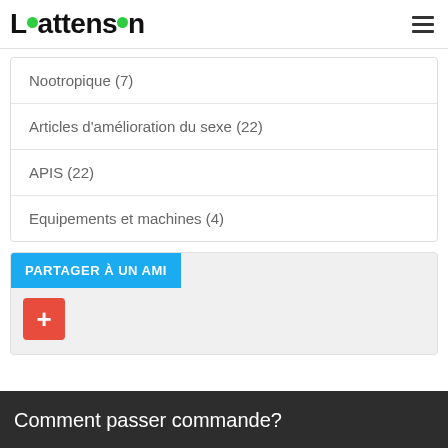Lattenson
Nootropique (7)
Articles d'amélioration du sexe (22)
APIS (22)
Equipements et machines (4)
PARTAGER À UN AMI
Comment passer commande?